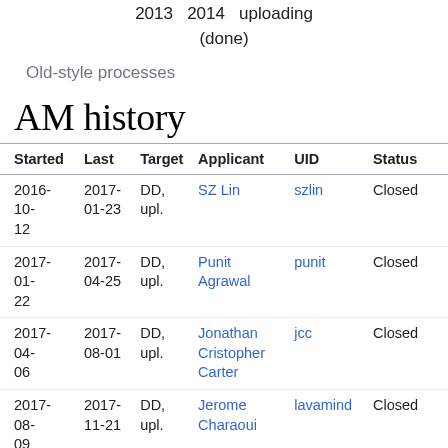2013   2014   uploading
(done)
Old-style processes
AM history
| Started | Last | Target | Applicant | UID | Status |  |
| --- | --- | --- | --- | --- | --- | --- |
| 2016-10-12 | 2017-01-23 | DD, upl. | SZ Lin | szlin | Closed |  |
| 2017-01-22 | 2017-04-25 | DD, upl. | Punit Agrawal | punit | Closed |  |
| 2017-04-06 | 2017-08-01 | DD, upl. | Jonathan Cristopher Carter | jcc | Closed |  |
| 2017-08-09 | 2017-11-21 | DD, upl. | Jerome Charaoui | lavamind | Closed |  |